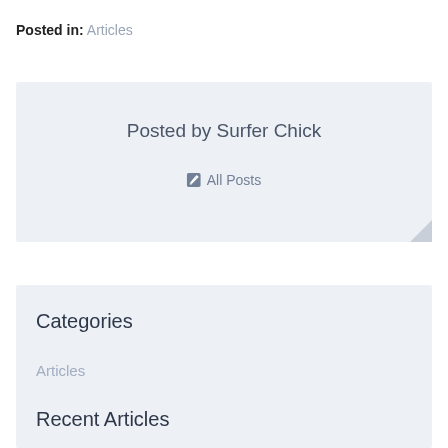Posted in: Articles
Posted by Surfer Chick
All Posts
Categories
Articles
Recent Articles